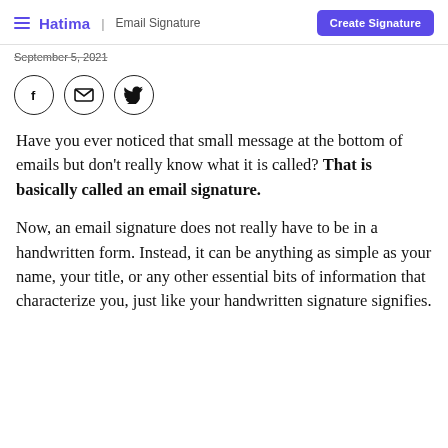Hatima | Email Signature  Create Signature
September 5, 2021
[Figure (other): Three social media icon circles: Facebook (f), Email (envelope), Twitter (bird)]
Have you ever noticed that small message at the bottom of emails but don't really know what it is called? That is basically called an email signature.
Now, an email signature does not really have to be in a handwritten form. Instead, it can be anything as simple as your name, your title, or any other essential bits of information that characterize you, just like your handwritten signature signifies.